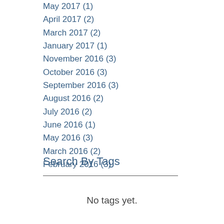May 2017 (1)
April 2017 (2)
March 2017 (2)
January 2017 (1)
November 2016 (3)
October 2016 (3)
September 2016 (3)
August 2016 (2)
July 2016 (2)
June 2016 (1)
May 2016 (3)
March 2016 (2)
February 2016 (3)
Search By Tags
No tags yet.